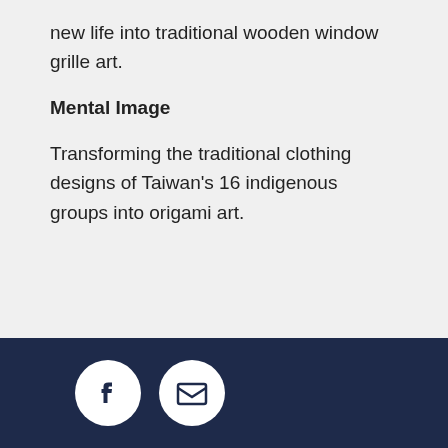new life into traditional wooden window grille art.
Mental Image
Transforming the traditional clothing designs of Taiwan's 16 indigenous groups into origami art.
[Figure (other): Footer with Facebook and email icon circles on dark navy background]